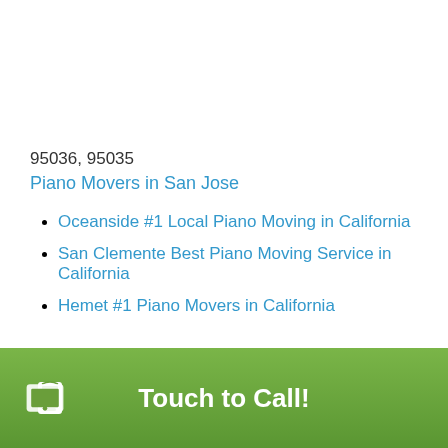95036, 95035
Piano Movers in San Jose
Oceanside #1 Local Piano Moving in California
San Clemente Best Piano Moving Service in California
Hemet #1 Piano Movers in California
Touch to Call!